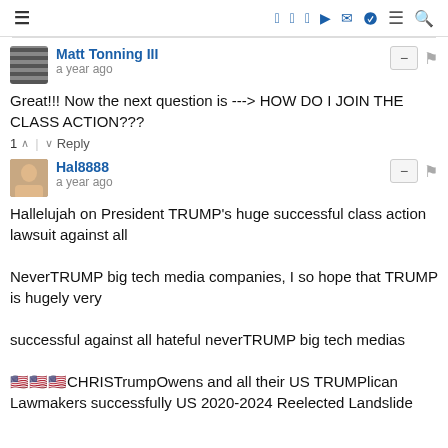≡   f  twitter  instagram  youtube  mail  telegram  ≡  search
Matt Tonning III
a year ago
Great!!! Now the next question is ---> HOW DO I JOIN THE CLASS ACTION???
1 ^ | v Reply
Hal8888
a year ago
Hallelujah on President TRUMP's huge successful class action lawsuit against all

NeverTRUMP big tech media companies, I so hope that TRUMP is hugely very

successful against all hateful neverTRUMP big tech medias

🇺🇸🇺🇸🇺🇸CHRISTrumpOwens and all their US TRUMPlican Lawmakers successfully US 2020-2024 Reelected Landslide